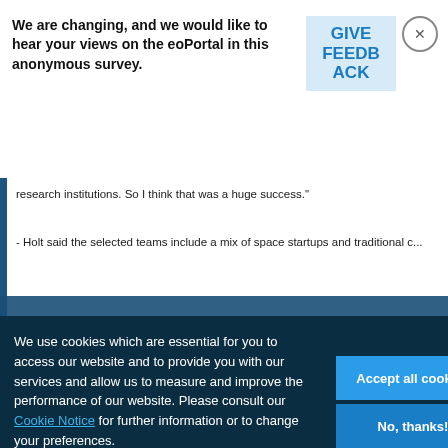We are changing, and we would like to hear your views on the eoPortal in this anonymous survey.
[Figure (other): Light blue 'GIVE FEEDBACK' button and a circular close (X) button]
research institutions. So I think that was a huge success."
- Holt said the selected teams include a mix of space startups and traditional c...
We use cookies which are essential for you to access our website and to provide you with our services and allow us to measure and improve the performance of our website. Please consult our Cookie Notice for further information or to change your preferences.
[Figure (other): Two buttons: 'Accept all cookies' (blue) and 'No, thanks!' (darker blue)]